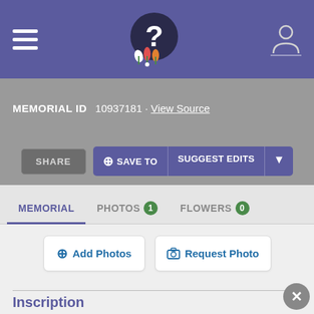FindAGrave memorial page header with hamburger menu, logo, and user icon
MEMORIAL ID  10937181 · View Source
SHARE  + SAVE TO  SUGGEST EDITS
MEMORIAL  PHOTOS 1  FLOWERS 0
+ Add Photos  Request Photo
Inscription
Ida B O